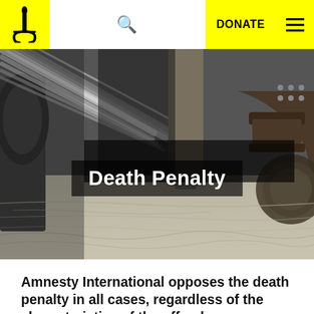Amnesty International — DONATE navigation
[Figure (photo): Black and white close-up photograph of what appears to be an electric chair or restraint device with leather straps and wooden elements]
Death Penalty
Amnesty International opposes the death penalty in all cases, regardless of the characteristics of the offender